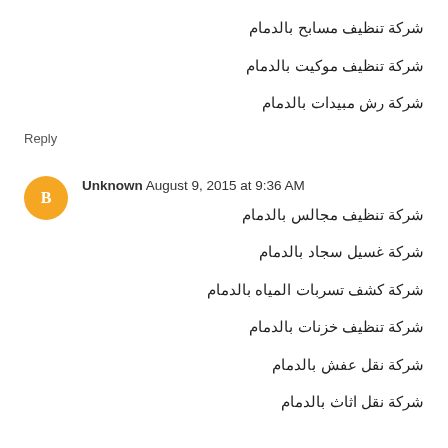شركة تنظيف مسابح بالدمام
شركة تنظيف موكيت بالدمام
شركة رش مبيدات بالدمام
Reply
Unknown  August 9, 2015 at 9:36 AM
شركة تنظيف مجالس بالدمام
شركة غسيل سجاد بالدمام
شركة كشف تسربات المياه بالدمام
شركة تنظيف خزنات بالدمام
شركة نقل عفش بالدمام
شركة نقل اثاث بالدمام